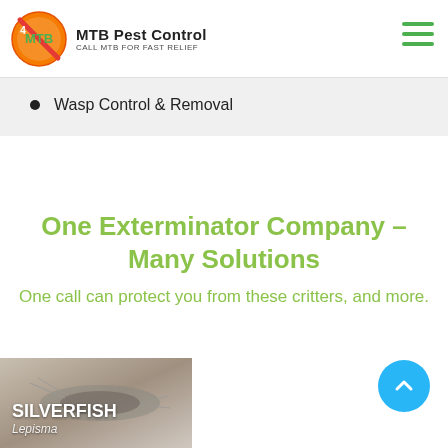[Figure (logo): MTB Pest Control logo: circular red/orange crossed-out bug symbol with green text, company name and tagline]
MTB Pest Control — CALL MTB FOR FAST RELIEF
Wasp Control & Removal
One Exterminator Company – Many Solutions
One call can protect you from these critters, and more.
[Figure (photo): Close-up photo of a silverfish insect with label SILVERFISH and subtitle Lepisma]
SILVERFISH
Lepisma